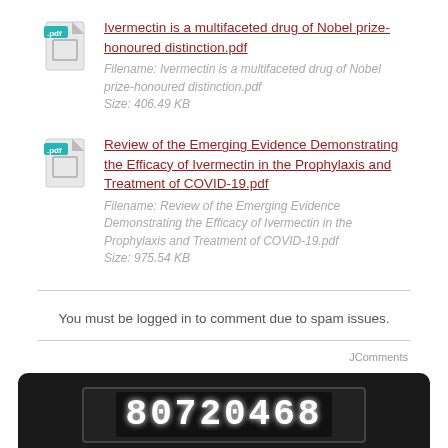[Figure (other): PDF file icon with .pdf label for first document]
Ivermectin is a multifaceted drug of Nobel prize-honoured distinction.pdf
Filename: Ivermectin is a multifaceted drug of Nobel prize-honoured distinction.pdf
Size: 406.49 KB
[Figure (other): PDF file icon with .pdf label for second document]
Review of the Emerging Evidence Demonstrating the Efficacy of Ivermectin in the Prophylaxis and Treatment of COVID-19.pdf
Filename: Review of the Emerging Evidence Demonstrating the Efficacy of Ivermectin in the Prophylaxis and Treatment of COVID-19.pdf
Size: 975.54 KB
You must be logged in to comment due to spam issues.
JComments
[Figure (other): Black counter/odometer display showing 80720468, with Today label and count 67030]